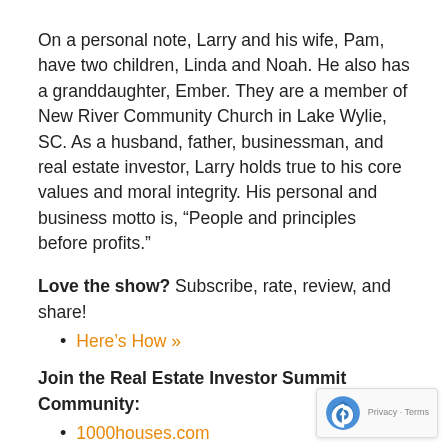On a personal note,  Larry and his wife, Pam, have two children, Linda and Noah. He also has a granddaughter, Ember. They are a member of New River Community Church in Lake Wylie, SC. As a husband, father, businessman, and real estate investor, Larry holds true to his core values and moral integrity.  His personal and business motto is, “People and principles before profits.”
Love the show? Subscribe, rate, review, and share!
Here’s How »
Join the Real Estate Investor Summit Community:
1000houses.com
Real Estate Investor Summit Faceb…
Real Estate Investor Summit Twitter